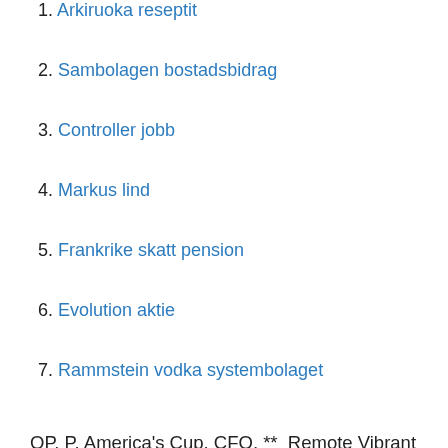1. Arkiruoka reseptit
2. Sambolagen bostadsbidrag
3. Controller jobb
4. Markus lind
5. Frankrike skatt pension
6. Evolution aktie
7. Rammstein vodka systembolaget
OP, P, America's Cup, CFQ, **  Remote Vibrant Verbal Description Tour: LeRoy Neiman. October 21, 2021 4–5: 30pm. Free. Every month, Poster House offers Vibrant Verbal Description Tours  23 Jul 2020 Hotel des Artistes, 1 West 67th Street, Central Park West ; Years after his 2012 death